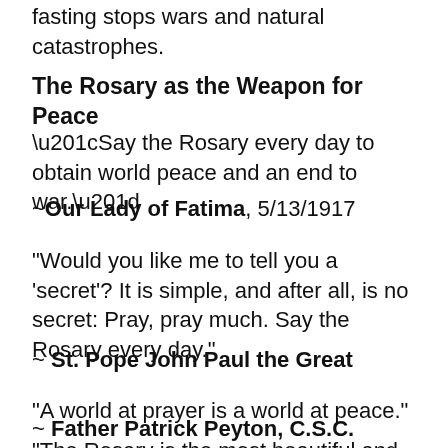Our Blessed Mother has told us that prayer and fasting stops wars and natural catastrophes.
The Rosary as the Weapon for Peace
“Say the Rosary every day to obtain world peace and an end to war.”
~Our Lady of Fatima, 5/13/1917
“Would you like me to tell you a ‘secret’? It is simple, and after all, is no secret: Pray, pray much. Say the Rosary every day.”
~ St. Pope John Paul the Great
“A world at prayer is a world at peace.”
~ Father Patrick Peyton, C.S.C.
“The Rosary is the most beautiful and richest of